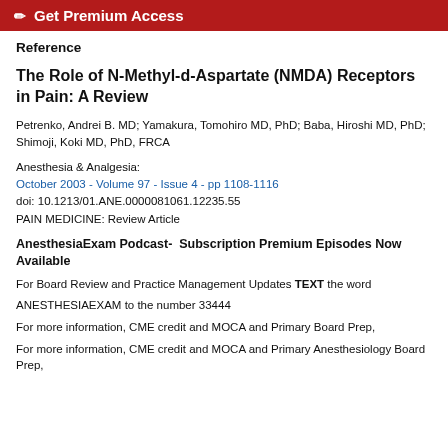✏ Get Premium Access
Reference
The Role of N-Methyl-d-Aspartate (NMDA) Receptors in Pain: A Review
Petrenko, Andrei B. MD; Yamakura, Tomohiro MD, PhD; Baba, Hiroshi MD, PhD; Shimoji, Koki MD, PhD, FRCA
Anesthesia & Analgesia:
October 2003 - Volume 97 - Issue 4 - pp 1108-1116
doi: 10.1213/01.ANE.0000081061.12235.55
PAIN MEDICINE: Review Article
AnesthesiaExam Podcast-  Subscription Premium Episodes Now Available
For Board Review and Practice Management Updates TEXT the word
ANESTHESIAEXAM to the number 33444
For more information, CME credit and MOCA and Primary Board Prep,
For more information, CME credit and MOCA and Primary Anesthesiology Board Prep,